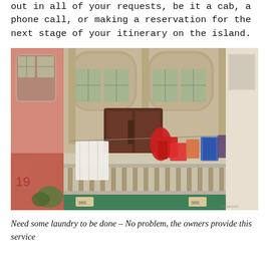out in all of your requests, be it a cab, a phone call, or making a reservation for the next stage of your itinerary on the island.
[Figure (photo): Exterior facade of a European-style building with pink and stone-colored walls, large arched windows with green glass, wooden double doors, and a balcony with white stone balustrade. Colorful laundry — white sheet, red garments, blue and purple items — hanging on a clothesline across the balcony. Green plants visible at balcony edges.]
Need some laundry to be done – No problem, the owners provide this service